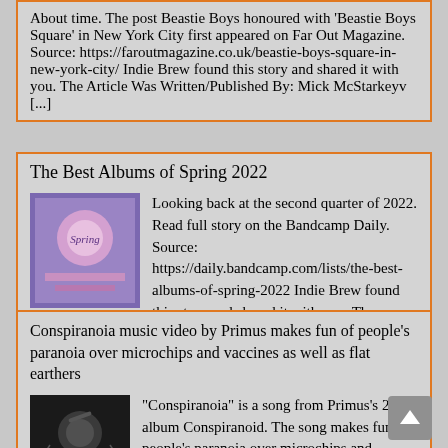About time. The post Beastie Boys honoured with 'Beastie Boys Square' in New York City first appeared on Far Out Magazine. Source: https://faroutmagazine.co.uk/beastie-boys-square-in-new-york-city/ Indie Brew found this story and shared it with you. The Article Was Written/Published By: Mick McStarkeyv [...]
The Best Albums of Spring 2022
[Figure (illustration): Album cover for Best Albums of Spring 2022, colorful illustrated cover with purple/blue tones]
Looking back at the second quarter of 2022. Read full story on the Bandcamp Daily. Source: https://daily.bandcamp.com/lists/the-best-albums-of-spring-2022 Indie Brew found this story and shared it with you. The Article Was Written/Published By: Bandcamp Daily Staffv [...]
Conspiranoia music video by Primus makes fun of people's paranoia over microchips and vaccines as well as flat earthers
[Figure (photo): Black and white image related to Primus Conspiranoia, showing a figure with mechanical/artistic elements]
"Conspiranoia" is a song from Primus's 2022 album Conspiranoid. The song makes fun of people's paranoia over microchips and vaccines